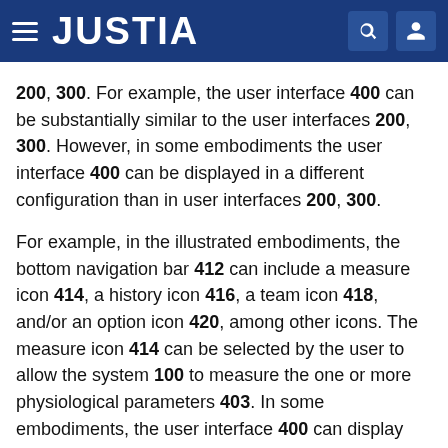JUSTIA
200, 300. For example, the user interface 400 can be substantially similar to the user interfaces 200, 300. However, in some embodiments the user interface 400 can be displayed in a different configuration than in user interfaces 200, 300.
For example, in the illustrated embodiments, the bottom navigation bar 412 can include a measure icon 414, a history icon 416, a team icon 418, and/or an option icon 420, among other icons. The measure icon 414 can be selected by the user to allow the system 100 to measure the one or more physiological parameters 403. In some embodiments, the user interface 400 can display that a user is measuring the physiological parameters 403. For example, the user interface 400 can display a signal waveform 422 within a widget (described in more detail below). In such configurations, the system